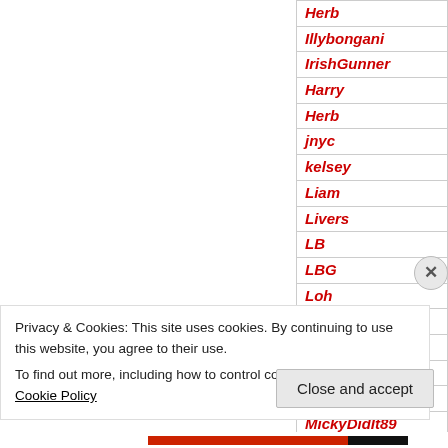| Herb |
| Illybongani |
| IrishGunner |
| Harry |
| Herb |
| jnyc |
| kelsey |
| Liam |
| Livers |
| LB |
| LBG |
| Loh |
| MacGooner |
| Magic Hat |
| Manthan |
| Maxwell |
| MickyDidIt89 |
| Mike M |
Privacy & Cookies: This site uses cookies. By continuing to use this website, you agree to their use. To find out more, including how to control cookies, see here: Cookie Policy
Close and accept